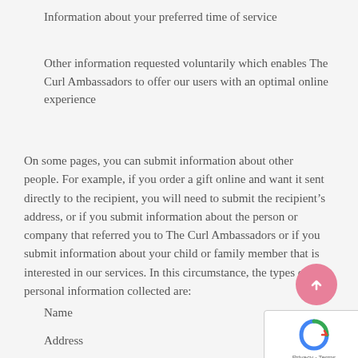Information about your preferred time of service
Other information requested voluntarily which enables The Curl Ambassadors to offer our users with an optimal online experience
On some pages, you can submit information about other people. For example, if you order a gift online and want it sent directly to the recipient, you will need to submit the recipient’s address, or if you submit information about the person or company that referred you to The Curl Ambassadors or if you submit information about your child or family member that is interested in our services. In this circumstance, the types of personal information collected are:
Name
Address